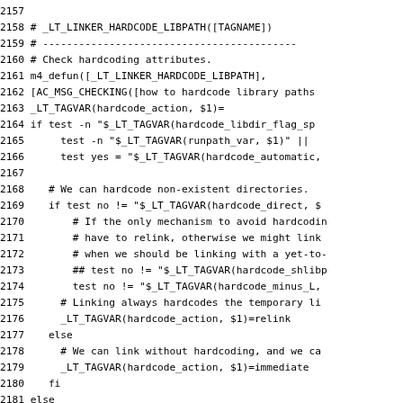Source code listing: lines 2157-2187, shell/m4 script dealing with _LT_LINKER_HARDCODE_LIBPATH macro